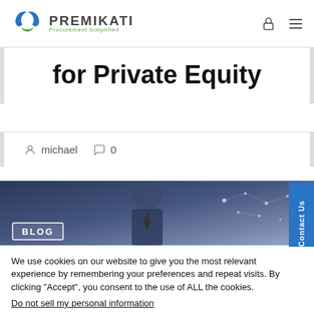PREMIKATI Procurement Simplified
for Private Equity
michael  0
[Figure (photo): Blog banner image showing a person in a suit with BLOG badge overlay and digital network graphics in the background]
We use cookies on our website to give you the most relevant experience by remembering your preferences and repeat visits. By clicking “Accept”, you consent to the use of ALL the cookies.
Do not sell my personal information.
Change Preferences  I AGREE